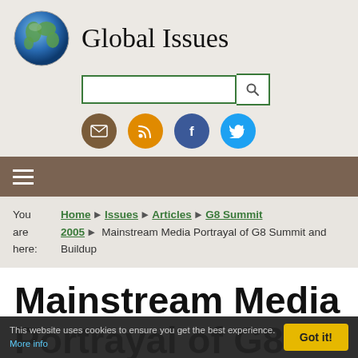Global Issues
Mainstream Media Portrayal of G8 Summit and Buildup
You are here: Home › Issues › Articles › G8 Summit 2005 › Mainstream Media Portrayal of G8 Summit and Buildup
This website uses cookies to ensure you get the best experience. More info